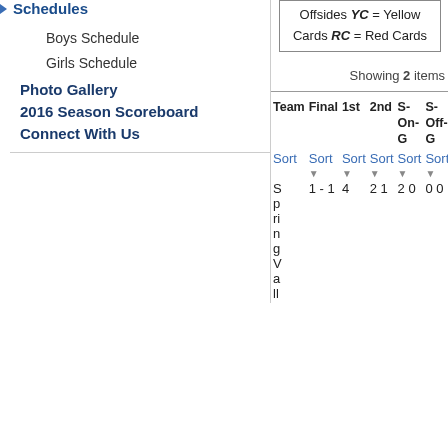Schedules
Boys Schedule
Girls Schedule
Photo Gallery
2016 Season Scoreboard
Connect With Us
Offsides YC = Yellow Cards RC = Red Cards
Showing 2 items
| Team | Final | 1st | 2nd | S-On-G | S-Off-G |
| --- | --- | --- | --- | --- | --- |
| Sort | Sort | Sort | Sort | Sort | Sort |
| Springfield... | 1 - 1 | 4 | 2 | 0 | 0 |